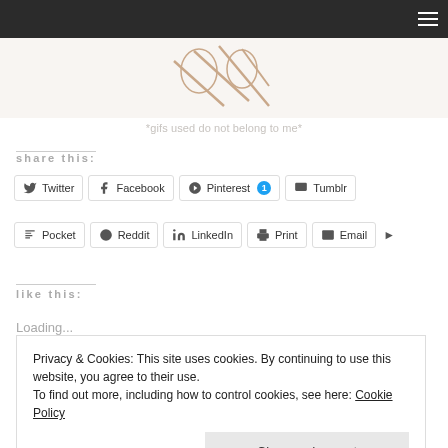[Figure (illustration): Partial view of animated GIF images on a light background, showing pen/pencil strokes]
*gifs used do not belong to me*
share this:
[Figure (other): Share buttons row 1: Twitter, Facebook, Pinterest 1, Tumblr]
[Figure (other): Share buttons row 2: Pocket, Reddit, LinkedIn, Print, Email with more arrow]
like this:
Loading...
Privacy & Cookies: This site uses cookies. By continuing to use this website, you agree to their use.
To find out more, including how to control cookies, see here: Cookie Policy